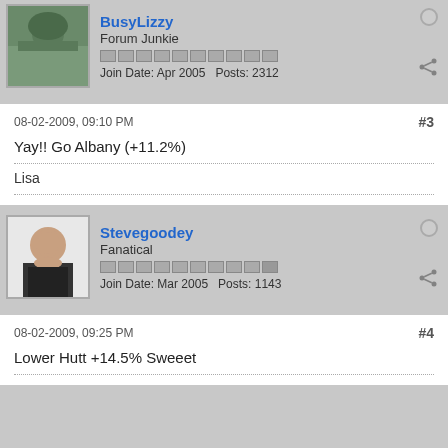BusyLizzy — Forum Junkie — Join Date: Apr 2005 — Posts: 2312
08-02-2009, 09:10 PM #3
Yay!! Go Albany (+11.2%)
Lisa
Stevegoodey — Fanatical — Join Date: Mar 2005 — Posts: 1143
08-02-2009, 09:25 PM #4
Lower Hutt +14.5% Sweeet